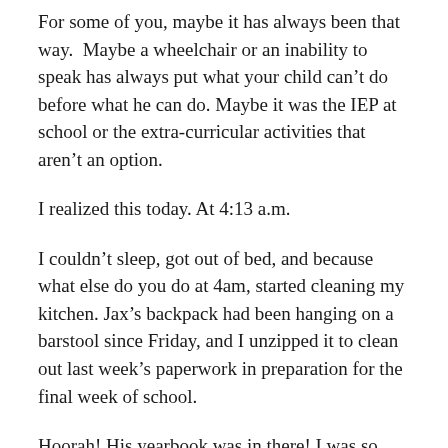For some of you, maybe it has always been that way.  Maybe a wheelchair or an inability to speak has always put what your child can’t do before what he can do. Maybe it was the IEP at school or the extra-curricular activities that aren’t an option.
I realized this today. At 4:13 a.m.
I couldn’t sleep, got out of bed, and because what else do you do at 4am, started cleaning my kitchen. Jax’s backpack had been hanging on a barstool since Friday, and I unzipped it to clean out last week’s paperwork in preparation for the final week of school.
Hoorah! His yearbook was in there! I was so